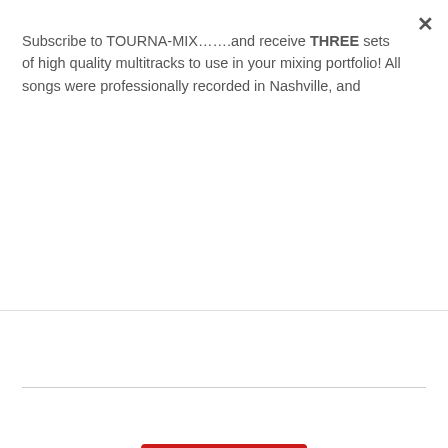Subscribe to TOURNA-MIX…….and receive THREE sets of high quality multitracks to use in your mixing portfolio! All songs were professionally recorded in Nashville, and
[Figure (other): Red Subscribe button in a popup/modal overlay]
Results
You are not eligible to participate in this tournament.